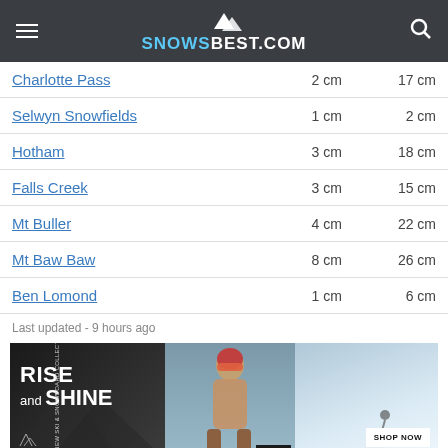SNOWSBEST.COM
| Resort | 24h | 72h |
| --- | --- | --- |
| Charlotte Pass | 2 cm | 17 cm |
| Selwyn Snowfields | 1 cm | 2 cm |
| Hotham | 3 cm | 18 cm |
| Falls Creek | 3 cm | 15 cm |
| Mt Buller | 4 cm | 22 cm |
| Mt Baw Baw | 8 cm | 26 cm |
| Ben Lomond | 1 cm | 6 cm |
Last updated - 9 hours ago
[Figure (photo): Arc'teryx advertisement banner reading 'RISE and SHINE' with a skier image, NEW SKI & SNOWBOARD COLLECTION, GORE-TEX branding, and SHOP NOW button]
SNOWSBEST.COM SNOW FORECAST